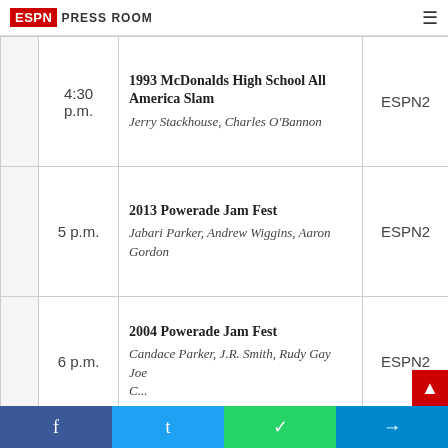ESPN Press Room
|  | Time | Event | Network |
| --- | --- | --- | --- |
|  | 4:30 p.m. | 1993 McDonalds High School All America Slam
Jerry Stackhouse, Charles O'Bannon | ESPN2 |
|  | 5 p.m. | 2013 Powerade Jam Fest
Jabari Parker, Andrew Wiggins, Aaron Gordon | ESPN2 |
|  | 6 p.m. | 2004 Powerade Jam Fest
Candace Parker, J.R. Smith, Rudy Gay Joe... | ESPN2 |
Facebook  Twitter  WhatsApp  Telegram